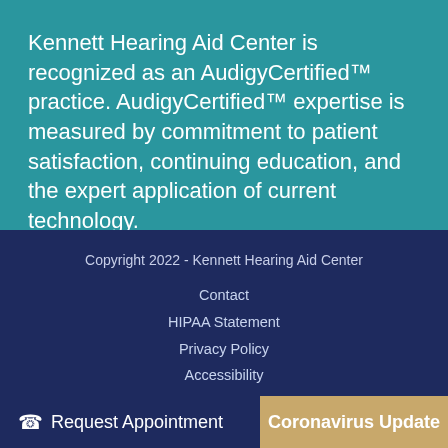Kennett Hearing Aid Center is recognized as an AudigyCertified™ practice. AudigyCertified™ expertise is measured by commitment to patient satisfaction, continuing education, and the expert application of current technology.
Copyright 2022 - Kennett Hearing Aid Center
Contact
HIPAA Statement
Privacy Policy
Accessibility
No Surprises Act
Request Appointment
Coronavirus Update